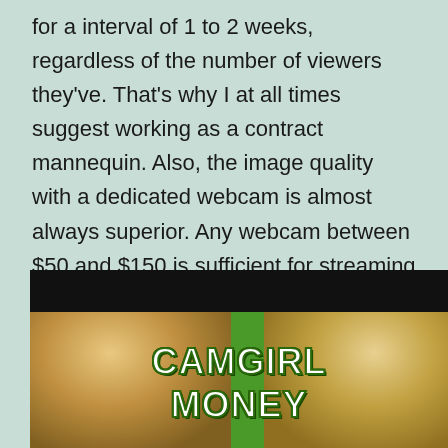for a interval of 1 to 2 weeks, regardless of the number of viewers they've. That's why I at all times suggest working as a contract mannequin. Also, the image quality with a dedicated webcam is almost always superior. Any webcam between $50 and $150 is sufficient for streaming for probably the most part.
[Figure (photo): Image with black bar at top and two women with blonde hair on either side of a green vertical stripe, with bold text 'CAMGIRL MONEY' overlaid in white with dark green outline]